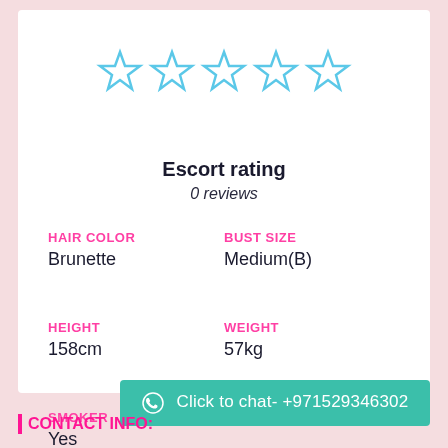[Figure (other): Five outlined star icons in blue/cyan color representing a rating system (all empty/unfilled stars)]
Escort rating
0 reviews
HAIR COLOR
Brunette
BUST SIZE
Medium(B)
HEIGHT
158cm
WEIGHT
57kg
SMOKER
Yes
Click to chat- +971529346302
CONTACT INFO: